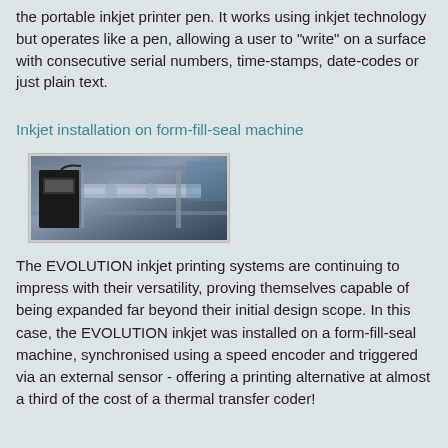the portable inkjet printer pen. It works using inkjet technology but operates like a pen, allowing a user to "write" on a surface with consecutive serial numbers, time-stamps, date-codes or just plain text.
Inkjet installation on form-fill-seal machine
[Figure (photo): Photo of an inkjet printer installed on a form-fill-seal machine, showing industrial machinery with printing components]
The EVOLUTION inkjet printing systems are continuing to impress with their versatility, proving themselves capable of being expanded far beyond their initial design scope. In this case, the EVOLUTION inkjet was installed on a form-fill-seal machine, synchronised using a speed encoder and triggered via an external sensor - offering a printing alternative at almost a third of the cost of a thermal transfer coder!